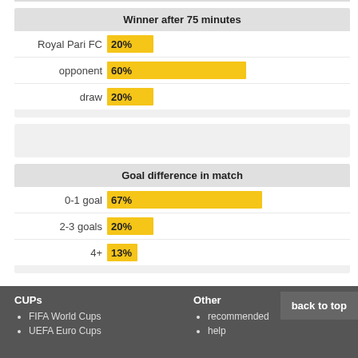[Figure (bar-chart): Winner after 75 minutes]
[Figure (bar-chart): Goal difference in match]
CUPs
• FIFA World Cups
• UEFA Euro Cups
Other
• recommended
• help
back to top